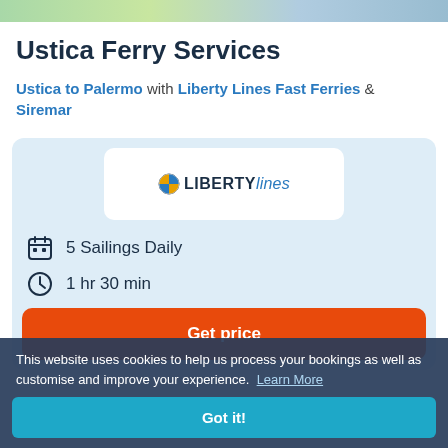[Figure (map): Partial map strip at top of page]
Ustica Ferry Services
Ustica to Palermo with Liberty Lines Fast Ferries & Siremar
[Figure (logo): Liberty Lines logo]
5 Sailings Daily
1 hr 30 min
Get price
This website uses cookies to help us process your bookings as well as customise and improve your experience.  Learn More
Got it!